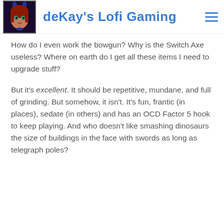deKay's Lofi Gaming
How do I even work the bowgun? Why is the Switch Axe useless? Where on earth do I get all these items I need to upgrade stuff?
But it's excellent. It should be repetitive, mundane, and full of grinding. But somehow, it isn't. It's fun, frantic (in places), sedate (in others) and has an OCD Factor 5 hook to keep playing. And who doesn't like smashing dinosaurs the size of buildings in the face with swords as long as telegraph poles?